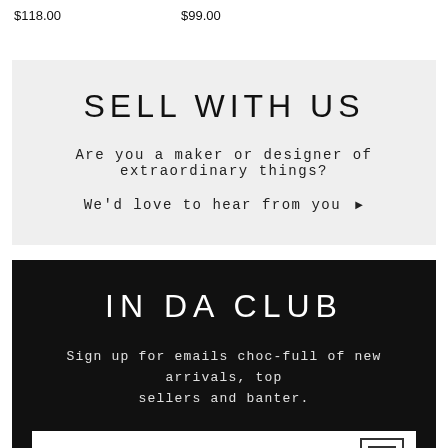$118.00    $99.00
SELL WITH US
Are you a maker or designer of extraordinary things?
We'd love to hear from you ▶
IN DA CLUB
Sign up for emails choc-full of new arrivals, top sellers and banter.
email address